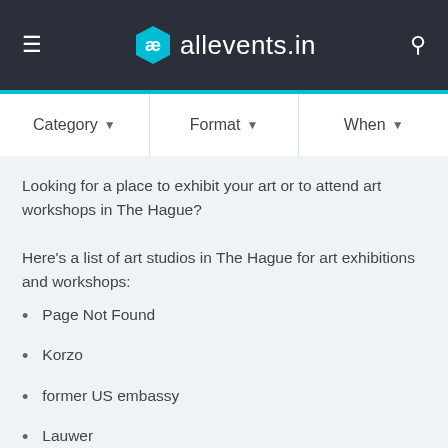allevents.in
Category ▾   Format ▾   When ▾
Looking for a place to exhibit your art or to attend art workshops in The Hague?
Here's a list of art studios in The Hague for art exhibitions and workshops:
Page Not Found
Korzo
former US embassy
Lauwer
The Grey Space in the Middle
iii
Brody's American Taphouse
CLOUD At Danslab